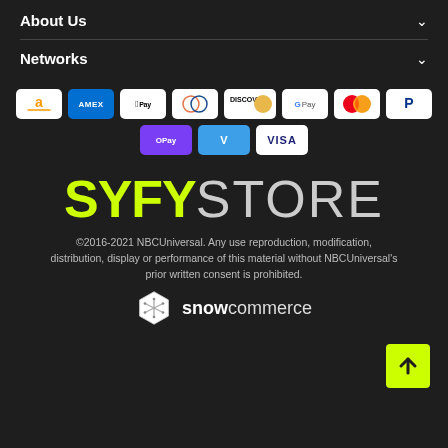About Us
Networks
[Figure (infographic): Payment method icons: Amazon, Amex, Apple Pay, Diners Club, Discover, Google Pay, Mastercard, PayPal, OPay, Venmo, Visa]
[Figure (logo): SYFY STORE logo with yellow SYFY and grey STORE text]
©2016-2021 NBCUniversal. Any use reproduction, modification, distribution, display or performance of this material without NBCUniversal's prior written consent is prohibited.
[Figure (logo): snowcommerce logo with snowflake hexagon icon]